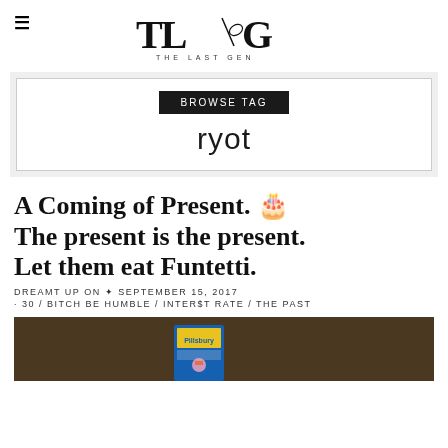THE LAST GEN
BROWSE TAG
ryot
A Coming of Present. 🎂 The present is the present. Let them eat Funtetti.
DREAMT UP ON ✦ SEPTEMBER 15, 2017
· 30 / BITCH BE HUMBLE / INTER$T RATE / THE PAST
[Figure (photo): Photo of a Pillsbury Funfetti cake mix box on a dark wooden background]